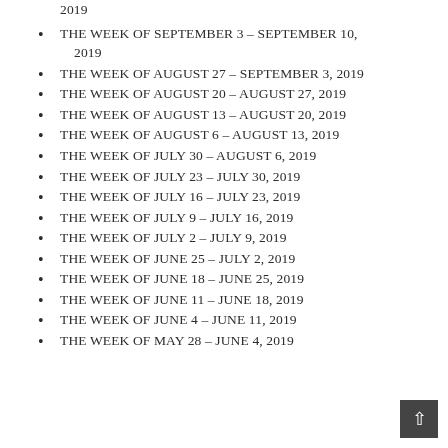2019
THE WEEK OF SEPTEMBER 3 – SEPTEMBER 10, 2019
THE WEEK OF AUGUST 27 – SEPTEMBER 3, 2019
THE WEEK OF AUGUST 20 – AUGUST 27, 2019
THE WEEK OF AUGUST 13 – AUGUST 20, 2019
THE WEEK OF AUGUST 6 – AUGUST 13, 2019
THE WEEK OF JULY 30 – AUGUST 6, 2019
THE WEEK OF JULY 23 – JULY 30, 2019
THE WEEK OF JULY 16 – JULY 23, 2019
THE WEEK OF JULY 9 – JULY 16, 2019
THE WEEK OF JULY 2 – JULY 9, 2019
THE WEEK OF JUNE 25 – JULY 2, 2019
THE WEEK OF JUNE 18 – JUNE 25, 2019
THE WEEK OF JUNE 11 – JUNE 18, 2019
THE WEEK OF JUNE 4 – JUNE 11, 2019
THE WEEK OF MAY 28 – JUNE 4, 2019